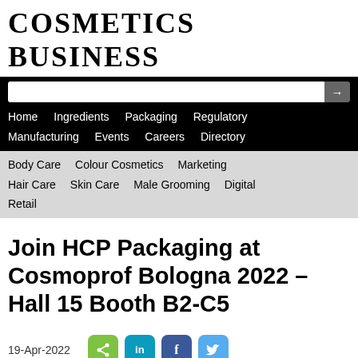COSMETICS BUSINESS
[Figure (screenshot): Website navigation bar with search box and menu links: Home, Ingredients, Packaging, Regulatory, Manufacturing, Events, Careers, Directory]
Body Care   Colour Cosmetics   Marketing   Hair Care   Skin Care   Male Grooming   Digital   Retail
Join HCP Packaging at Cosmoprof Bologna 2022 – Hall 15 Booth B2-C5
19-Apr-2022